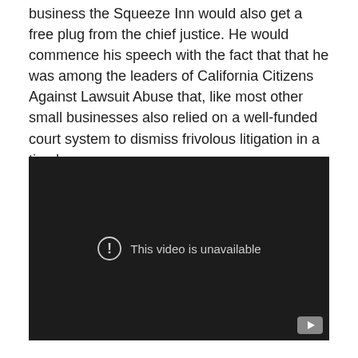business the Squeeze Inn would also get a free plug from the chief justice. He would commence his speech with the fact that that he was among the leaders of California Citizens Against Lawsuit Abuse that, like most other small businesses also relied on a well-funded court system to dismiss frivolous litigation in a timely manner.
[Figure (screenshot): Embedded video player with dark background showing 'This video is unavailable' message with exclamation icon and a YouTube play button in the bottom right corner.]